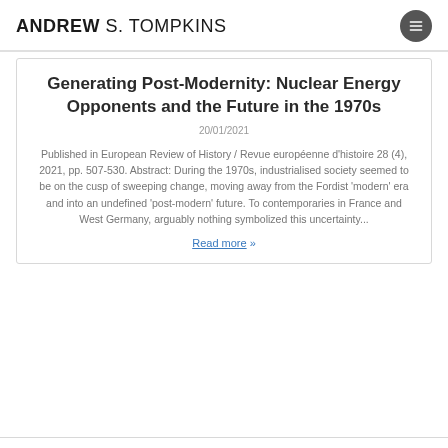ANDREW S. TOMPKINS
Generating Post-Modernity: Nuclear Energy Opponents and the Future in the 1970s
20/01/2021
Published in European Review of History / Revue européenne d'histoire 28 (4), 2021, pp. 507-530. Abstract: During the 1970s, industrialised society seemed to be on the cusp of sweeping change, moving away from the Fordist 'modern' era and into an undefined 'post-modern' future. To contemporaries in France and West Germany, arguably nothing symbolized this uncertainty...
Read more »